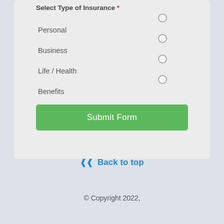Select Type of Insurance *
Personal
Business
Life / Health
Benefits
Submit Form
⌃ Back to top
© Copyright 2022,